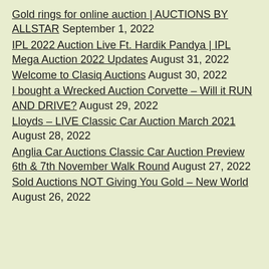Gold rings for online auction | AUCTIONS BY ALLSTAR September 1, 2022
IPL 2022 Auction Live Ft. Hardik Pandya | IPL Mega Auction 2022 Updates August 31, 2022
Welcome to Clasiq Auctions August 30, 2022
I bought a Wrecked Auction Corvette – Will it RUN AND DRIVE? August 29, 2022
Lloyds – LIVE Classic Car Auction March 2021 August 28, 2022
Anglia Car Auctions Classic Car Auction Preview 6th & 7th November Walk Round August 27, 2022
Sold Auctions NOT Giving You Gold – New World August 26, 2022